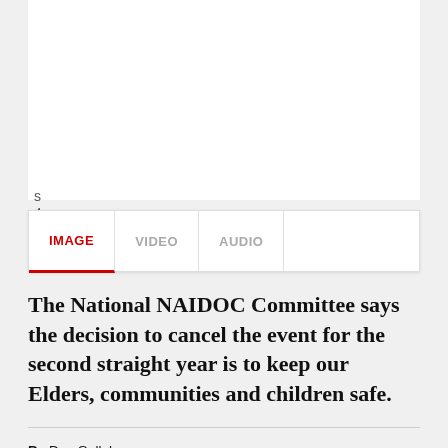[Figure (photo): Image placeholder area at top of article page, white/blank]
IMAGE  VIDEO  AUDIO
The National NAIDOC Committee says the decision to cancel the event for the second straight year is to keep our Elders, communities and children safe.
By Dan Gallahar
Source: NITV News
4 JUN 2021 - 6:34 PM  UPDATED 6 JUL 2021 - 10:54 AM